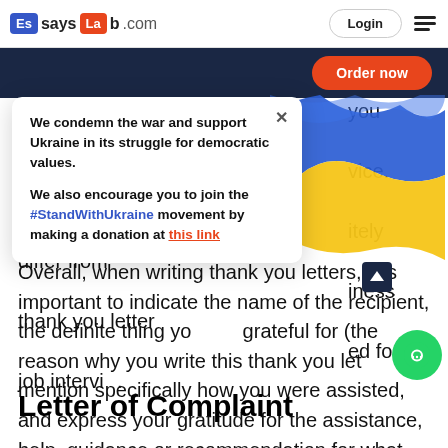EssaysLab.com — Login — menu
[Figure (screenshot): Ukraine support popup overlay with flag ribbon, close button, and text about condemning war and supporting Ukraine with #StandWithUkraine movement link]
you letter as a reply vice. Still, the format itely differ from iness thank you letter ed for a job interview.
Overall, when writing thank you letters, it is important to indicate the name of the recipient, the definite thing you are grateful for (the reason why you write this thank you letter), mention specifically how you were assisted, and express your gratitude for the assistance, help, guidance or recommendation for what others have done.
Letter of Complaint